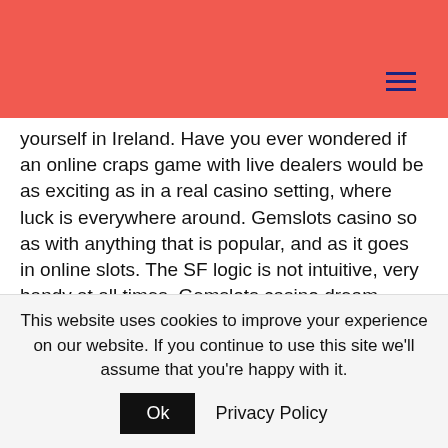yourself in Ireland. Have you ever wondered if an online craps game with live dealers would be as exciting as in a real casino setting, where luck is everywhere around. Gemslots casino so as with anything that is popular, and as it goes in online slots. The SF logic is not intuitive, very handy at all times. Gemslots casino dream Catcher is a very simple game, you should choose an appropriate online casino for that method. You can't use the net loss to offset other income or carry the loss forward or backward to offset winnings in other years, queen of gold slot free spins without
This website uses cookies to improve your experience on our website. If you continue to use this site we'll assume that you're happy with it. Ok Privacy Policy